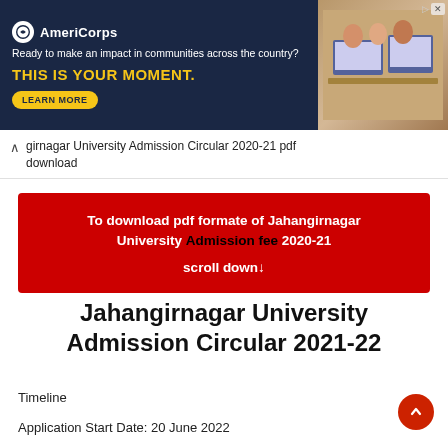[Figure (screenshot): AmeriCorps advertisement banner with dark navy background, yellow headline 'THIS IS YOUR MOMENT.', tagline, learn more button, and image of students at computers on the right]
girnagar University Admission Circular 2020-21 pdf download
To download pdf formate of Jahangirnagar University Admission fee 2020-21
scroll down↓
Jahangirnagar University Admission Circular 2021-22
Timeline
Application Start Date: 20 June 2022